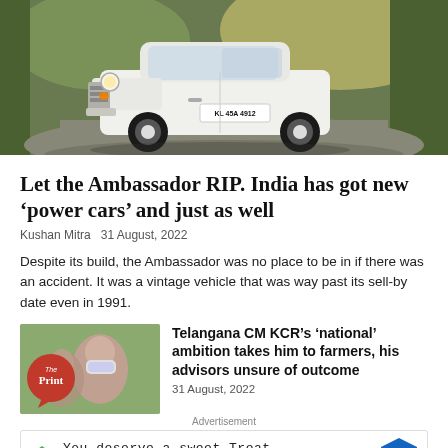[Figure (photo): White Ambassador car (license plate KL 45A 4912) driving on a road surrounded by trees with golden/green bokeh background]
Let the Ambassador RIP. India has got new ‘power cars’ and just as well
Kushan Mitra 31 August, 2022
Despite its build, the Ambassador was no place to be in if there was an accident. It was a vintage vehicle that was way past its sell-by date even in 1991.
[Figure (photo): Thumbnail with The Print logo overlay and people in background, related article image]
Telangana CM KCR’s ‘national’ ambition takes him to farmers, his advisors unsure of outcome
31 August, 2022
Advertisement
[Figure (other): Advertisement banner: You deserve a sweet Treat - sweetFrog]
[Figure (photo): Bottom left thumbnail partially visible showing CUT CLUE text]
d what